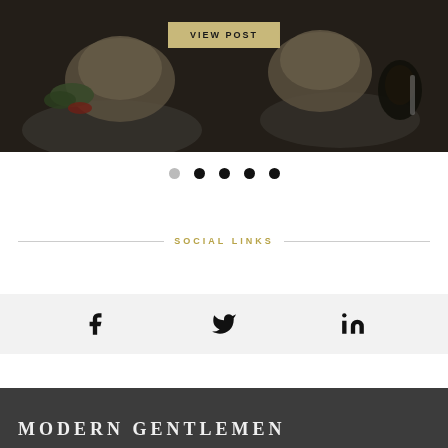[Figure (photo): Food photograph showing plates of rice with salad on a dark wooden table background]
VIEW POST
[Figure (infographic): Carousel pagination dots: one light grey dot and four dark/black dots]
SOCIAL LINKS
[Figure (infographic): Social media icons row on light grey background: Facebook, Twitter, LinkedIn]
MODERN GENTLEMEN